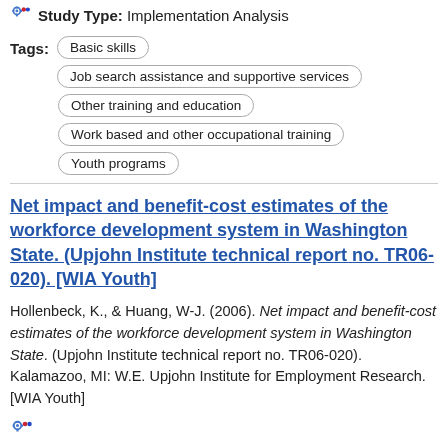Study Type: Implementation Analysis
Tags: Basic skills | Job search assistance and supportive services | Other training and education | Work based and other occupational training | Youth programs
Net impact and benefit-cost estimates of the workforce development system in Washington State. (Upjohn Institute technical report no. TR06-020). [WIA Youth]
Hollenbeck, K., & Huang, W-J. (2006). Net impact and benefit-cost estimates of the workforce development system in Washington State. (Upjohn Institute technical report no. TR06-020). Kalamazoo, MI: W.E. Upjohn Institute for Employment Research. [WIA Youth]